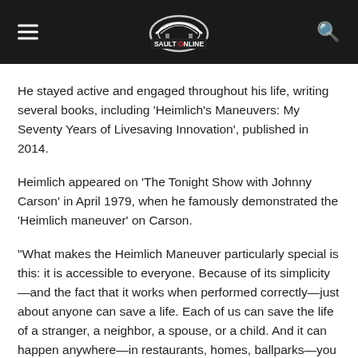Sault Online
He stayed active and engaged throughout his life, writing several books, including ‘Heimlich’s Maneuvers: My Seventy Years of Livesaving Innovation’, published in 2014.
Heimlich appeared on ‘The Tonight Show with Johnny Carson’ in April 1979, when he famously demonstrated the ‘Heimlich maneuver’ on Carson.
“What makes the Heimlich Maneuver particularly special is this: it is accessible to everyone. Because of its simplicity—and the fact that it works when performed correctly—just about anyone can save a life. Each of us can save the life of a stranger, a neighbor, a spouse, or a child. And it can happen anywhere—in restaurants, homes, ballparks—you name it. You see, you don’t have to be a doctor to save a life. You just